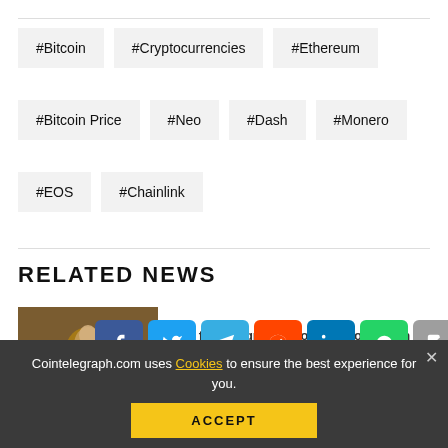#Bitcoin
#Cryptocurrencies
#Ethereum
#Bitcoin Price
#Neo
#Dash
#Monero
#EOS
#Chainlink
RELATED NEWS
[Figure (screenshot): Share bar with Facebook, Twitter, Telegram, Reddit, LinkedIn, WhatsApp, Copy, and scroll-up buttons]
Two firms sign MoU to help blockchain strength to strength
Cointelegraph.com uses Cookies to ensure the best experience for you.
ACCEPT